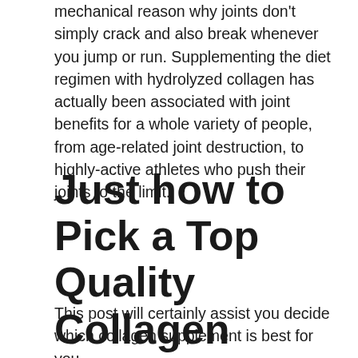mechanical reason why joints don't simply crack and also break whenever you jump or run. Supplementing the diet regimen with hydrolyzed collagen has actually been associated with joint benefits for a whole variety of people, from age-related joint destruction, to highly-active athletes who push their joints to the limit.
Just how to Pick a Top Quality Collagen Supplement
This post will certainly assist you decide which collagen supplement is best for you.